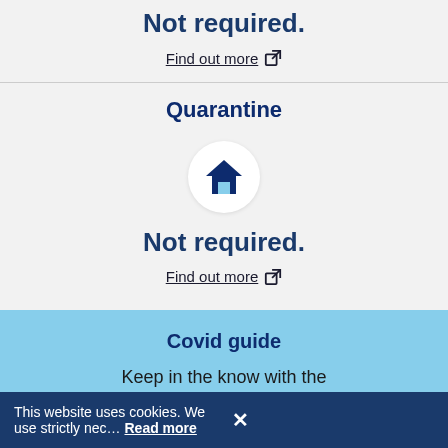Not required.
Find out more [external link]
Quarantine
[Figure (illustration): House icon in a white circle on grey background]
Not required.
Find out more [external link]
Covid guide
Keep in the know with the
This website uses cookies. We use strictly nec… Read more ✕